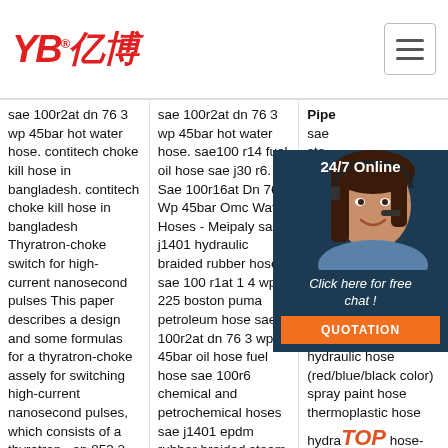[Figure (logo): YB亿博 logo in red italic text with registered trademark symbol]
[Figure (other): Hamburger menu button (three horizontal lines in a bordered box)]
sae 100r2at dn 76 3 wp 45bar hot water hose. contitech choke kill hose in bangladesh. contitech choke kill hose in bangladesh Thyratron-choke switch for high-current nanosecond pulses This paper describes a design and some formulas for a thyratron-choke assely for switching high-current nanosecond pulses, which consists of a thyratron . en 853 2 sn sae 100r2 heavy
sae 100r2at dn 76 3 wp 45bar hot water hose. sae100 r14 fuel oil hose sae j30 r6. Sae 100r16at Dn 76 3 Wp 45bar Omc Water Hoses - Meipaly sae j1401 hydraulic braided rubber hose sae 100 r1at 1 4 wp 225 boston puma petroleum hose sae 100r2at dn 76 3 wp 45bar oil hose fuel hose sae 100r6 chemical and petrochemical hoses sae j1401 epdm rubber braided steam hose
Pipe sae steel hyd Chi Hos and Fac brai hos 100 rea tem hydraulic hose (red/blue/black color) spray paint hose thermoplastic hose hydraulic hose-sae 100r7 non-conductive. heavy hose wire
[Figure (photo): Chat widget with woman wearing headset (customer service agent) on dark navy background with '24/7 Online' label, 'Click here for free chat!' text, and orange QUOTATION button]